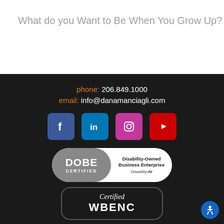What do you Want to Be When You Grow Up?
phone: 206.849.1000
email: info@danamanciagli.com
[Figure (logo): Social media icons: Facebook (blue), LinkedIn (blue), Instagram (pink/magenta), YouTube (red)]
[Figure (logo): DOBE Certified - Disability-Owned Business Enterprise, Disability:IN badge]
[Figure (logo): Certified WBENC badge (partially visible at bottom)]